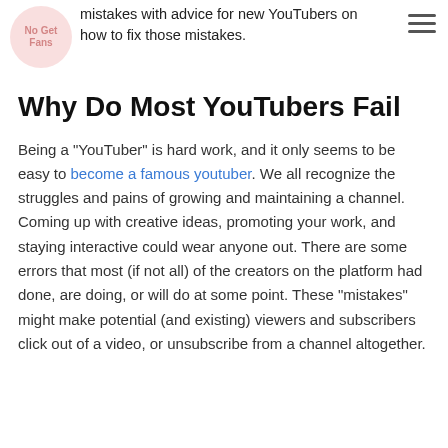mistakes with advice for new YouTubers on how to fix those mistakes.
Why Do Most YouTubers Fail
Being a "YouTuber" is hard work, and it only seems to be easy to become a famous youtuber. We all recognize the struggles and pains of growing and maintaining a channel. Coming up with creative ideas, promoting your work, and staying interactive could wear anyone out. There are some errors that most (if not all) of the creators on the platform had done, are doing, or will do at some point. These "mistakes" might make potential (and existing) viewers and subscribers click out of a video, or unsubscribe from a channel altogether.